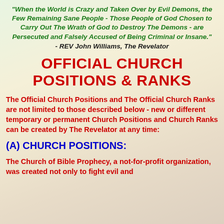“When the World is Crazy and Taken Over by Evil Demons, the Few Remaining Sane People - Those People of God Chosen to Carry Out The Wrath of God to Destroy The Demons - are Persecuted and Falsely Accused of Being Criminal or Insane.” - REV John Williams, The Revelator
OFFICIAL CHURCH POSITIONS & RANKS
The Official Church Positions and The Official Church Ranks are not limited to those described below - new or different temporary or permanent Church Positions and Church Ranks can be created by The Revelator at any time:
(A) CHURCH POSITIONS:
The Church of Bible Prophecy, a not-for-profit organization, was created not only to fight evil and